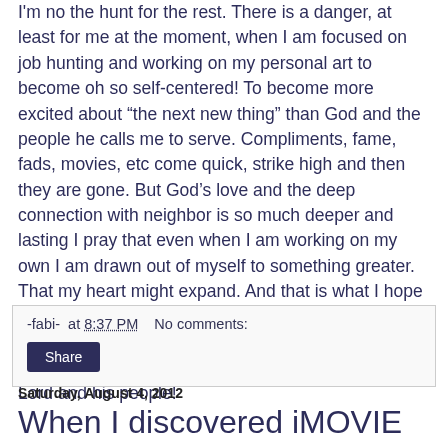I'm no the hunt for the rest. There is a danger, at least for me at the moment, when I am focused on job hunting and working on my personal art to become oh so self-centered! To become more excited about “the next new thing” than God and the people he calls me to serve. Compliments, fame, fads, movies, etc come quick, strike high and then they are gone. But God’s love and the deep connection with neighbor is so much deeper and lasting I pray that even when I am working on my own I am drawn out of myself to something greater. That my heart might expand. And that is what I hope for you too! Whatever your creature comforts may be that they will not become crutches in your life but sweet nectar to add to your daily romance with our Lord and his people!
-fabi- at 8:37 PM    No comments:
Share
Saturday, August 4, 2012
When I discovered iMOVIE